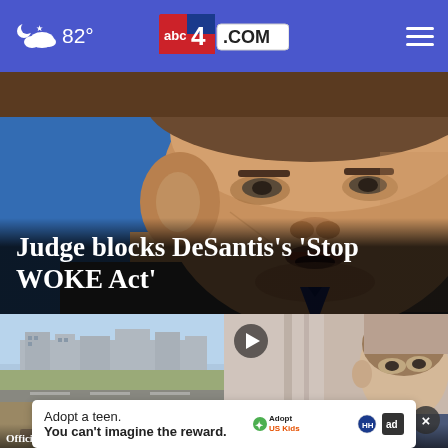abc4.com — 82° weather header
[Figure (photo): Close-up photo of Ron DeSantis speaking, blue background]
Judge blocks DeSantis's 'Stop WOKE Act'
[Figure (photo): Aerial/ground view of runway or highway with buildings in background and debris on ground]
[Figure (photo): Video thumbnail of a person, with play button overlay and close (X) button]
Adopt a teen. You can't imagine the reward.
Adopt US Kids advertisement banner